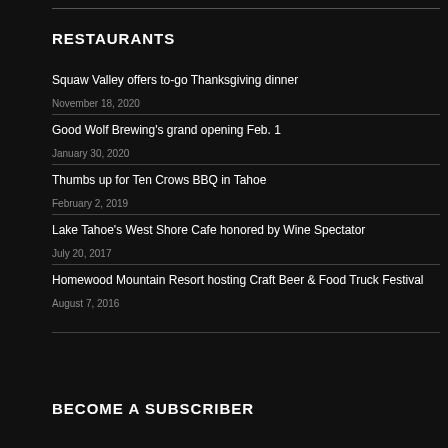RESTAURANTS
Squaw Valley offers to-go Thanksgiving dinner
November 18, 2020
Good Wolf Brewing's grand opening Feb. 1
January 30, 2020
Thumbs up for Ten Crows BBQ in Tahoe
February 2, 2019
Lake Tahoe's West Shore Cafe honored by Wine Spectator
July 20, 2017
Homewood Mountain Resort hosting Craft Beer & Food Truck Festival
August 7, 2016
BECOME A SUBSCRIBER